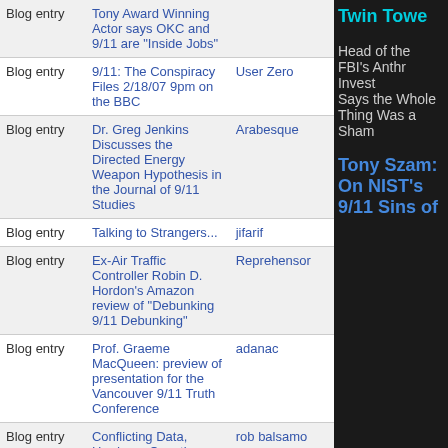| Type | Title | Author |
| --- | --- | --- |
| Blog entry | Tony Award Winning Actor says OKC and 9/11 are "Inside Jobs" |  |
| Blog entry | 9/11: The Conspiracy Files 2/18/07 9pm on the BBC | User Zero |
| Blog entry | Dr. Greg Jenkins Discusses the Directed Energy Weapon Hypothesis in the Journal of 9/11 Studies | Arabesque |
| Blog entry | Talking to Strangers... | jifarif |
| Blog entry | Ex-Air Traffic Controller Robin D. Hordon's Amazon review of "Debunking 9/11 Debunking" | Reprehensor |
| Blog entry | Prof. Graeme MacQueen: preview of presentation for the Vancouver 9/11 Truth Conference | adanac |
| Blog entry | Conflicting Data, Hardcore Questions and the Media Blackout | rob balsamo |
| Blog entry | Bombs in the Pentagon on 9/11? Witness Accounts Raise Questions | Shoestring |
Twin Tower
Head of the FBI's Anthrax Investigation Says the Whole Thing Was a Sham
Tony Szam: On NIST's 9/11 Sins of